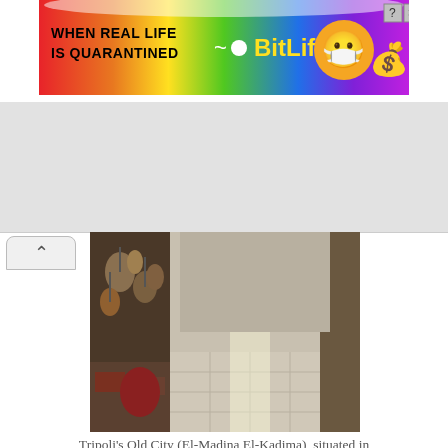[Figure (screenshot): Advertisement banner for BitLife app with rainbow gradient background, text 'WHEN REAL LIFE IS QUARANTINED' and BitLife logo with emoji characters, close buttons in top right]
[Figure (photo): Photograph of a narrow market alley or souk in Tripoli's Old City (El-Madina El-Kadima), showing hanging lamps and goods on the left, a tiled pathway, and a figure walking in the distance]
Tripoli's Old City (El-Madina El-Kadima), situated in city center, is one of the classical sites of the Mediterranean and an important tourist attraction
The city's old town, the Medina, is still unspoiled by mass-tourism, though it was increasingly exposed to more and more visi...